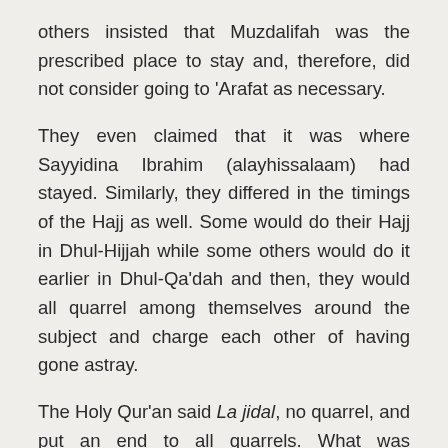others insisted that Muzdalifah was the prescribed place to stay and, therefore, did not consider going to 'Arafat as necessary.
They even claimed that it was where Sayyidina Ibrahim (alayhissalaam) had stayed. Similarly, they differed in the timings of the Hajj as well. Some would do their Hajj in Dhul-Hijjah while some others would do it earlier in Dhul-Qa'dah and then, they would all quarrel among themselves around the subject and charge each other of having gone astray.
The Holy Qur'an said La jidal, no quarrel, and put an end to all quarrels. What was proclaimed was the truth – the obligatory stay has to be made in 'Arafat, then, the necessary stay in Muzdalifah, and Hajj has to be performed in no other days.